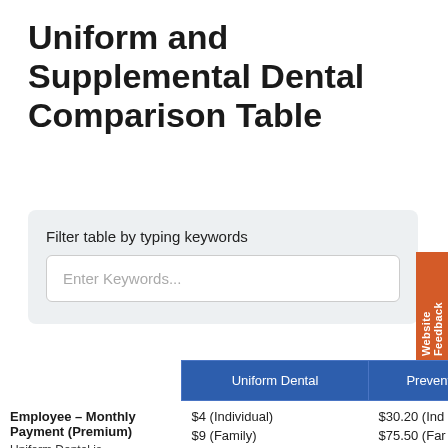Uniform and Supplemental Dental Comparison Table
Filter table by typing keywords
Enter Keywords...
|  | Uniform Dental | Preventive... |
| --- | --- | --- |
| Employee – Monthly Payment (Premium)
Uniform Dental is | $4 (Individual)
$9 (Family) | $30.20 (Ind...
$75.50 (Fam... |